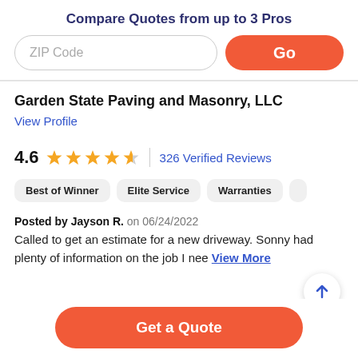Compare Quotes from up to 3 Pros
ZIP Code
Go
Garden State Paving and Masonry, LLC
View Profile
4.6   326 Verified Reviews
Best of Winner
Elite Service
Warranties
Posted by Jayson R. on 06/24/2022
Called to get an estimate for a new driveway. Sonny had plenty of information on the job I nee... View More
Get a Quote